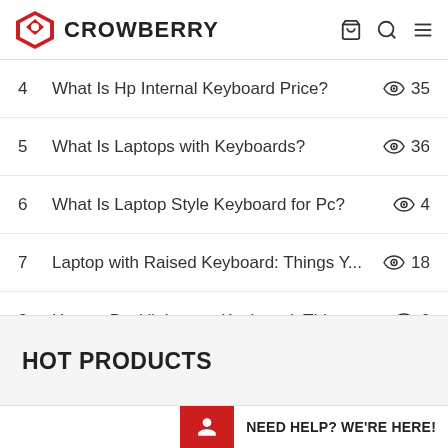CROWBERRY
4  What Is Hp Internal Keyboard Price?  35
5  What Is Laptops with Keyboards?  36
6  What Is Laptop Style Keyboard for Pc?  4
7  Laptop with Raised Keyboard: Things Y...  18
8  How to Backlit Laptop Keyboard: Thing...  6
9  Desktop Keyboard Replacement Keys: ...  48
10  Keyboard Voor Laptop: Things You May...  45
HOT PRODUCTS
NEED HELP? WE'RE HERE!